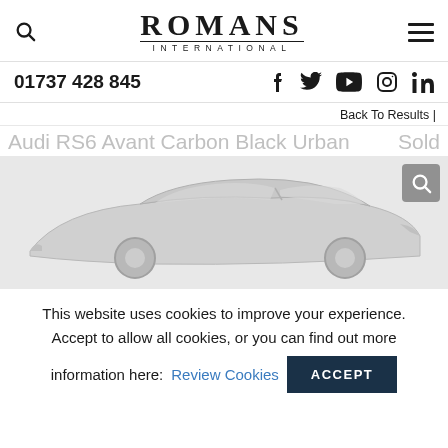ROMANS INTERNATIONAL
01737 428 845
Back To Results |
Audi RS6 Avant Carbon Black Urban  Sold
[Figure (photo): Side profile photo of a white/silver Audi RS6 Avant on a light grey background with a zoom/search icon overlay in the top right corner]
This website uses cookies to improve your experience. Accept to allow all cookies, or you can find out more information here: Review Cookies ACCEPT